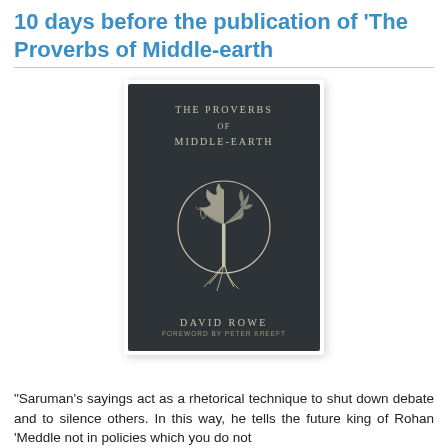10 days before the publication of 'The Proverbs of Middle-earth
[Figure (photo): Book cover of 'The Proverbs of Middle-earth' by David Rowe, foreword by Peter Kreeft. Dark background with a stylized tree (half bare, half leafy) inside a circle, with roots below. Title text in spaced serif capitals.]
"Saruman's sayings act as a rhetorical technique to shut down debate and to silence others. In this way, he tells the future king of Rohan 'Meddle not in policies which you do not